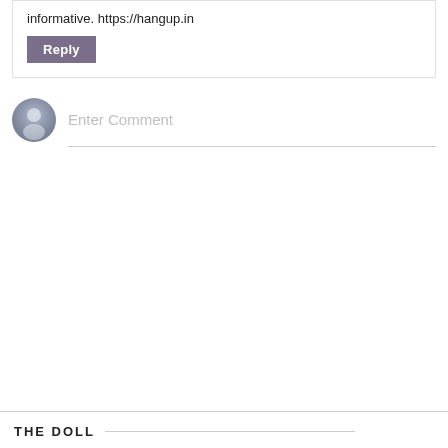informative. https://hangup.in
Reply
Enter Comment
THE DOLL